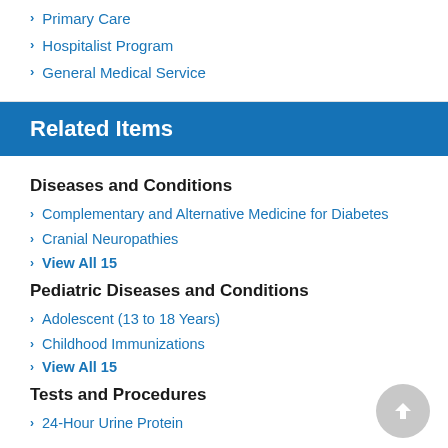Primary Care
Hospitalist Program
General Medical Service
Related Items
Diseases and Conditions
Complementary and Alternative Medicine for Diabetes
Cranial Neuropathies
View All 15
Pediatric Diseases and Conditions
Adolescent (13 to 18 Years)
Childhood Immunizations
View All 15
Tests and Procedures
24-Hour Urine Protein